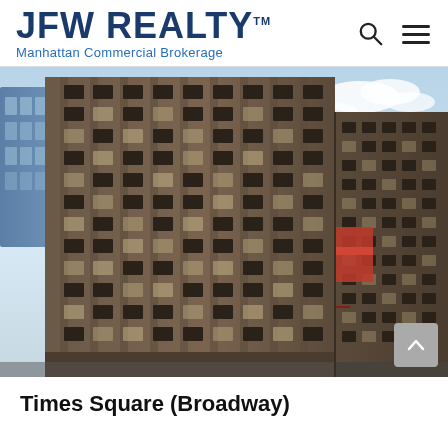JFW REALTY™ Manhattan Commercial Brokerage
[Figure (photo): Exterior photograph of a large multi-story pre-war commercial office building at a street corner in Manhattan, with Art Deco architectural ornamentation, dark brown brick facade, numerous windows, and a red flag or banner visible on the building's facade. Blue glass modern skyscraper visible in the background upper left, with partly cloudy sky.]
Times Square (Broadway)